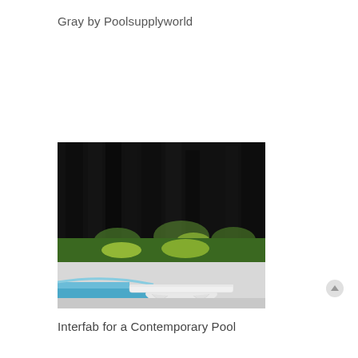Gray by Poolsupplyworld
[Figure (photo): A white diving board with arched base mounted at the edge of a swimming pool with blue water, surrounded by green lawn and dark trees in the background.]
Interfab for a Contemporary Pool